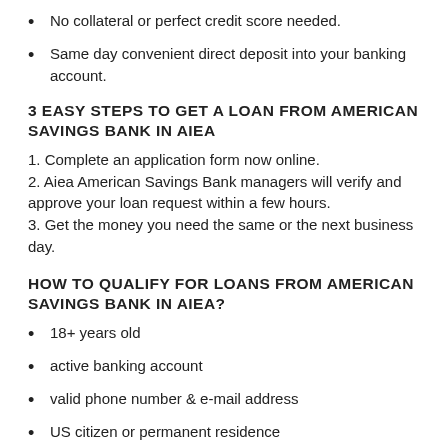No collateral or perfect credit score needed.
Same day convenient direct deposit into your banking account.
3 EASY STEPS TO GET A LOAN FROM AMERICAN SAVINGS BANK IN AIEA
1. Complete an application form now online.
2. Aiea American Savings Bank managers will verify and approve your loan request within a few hours.
3. Get the money you need the same or the next business day.
HOW TO QUALIFY FOR LOANS FROM AMERICAN SAVINGS BANK IN AIEA?
18+ years old
active banking account
valid phone number & e-mail address
US citizen or permanent residence
any proof of steady income